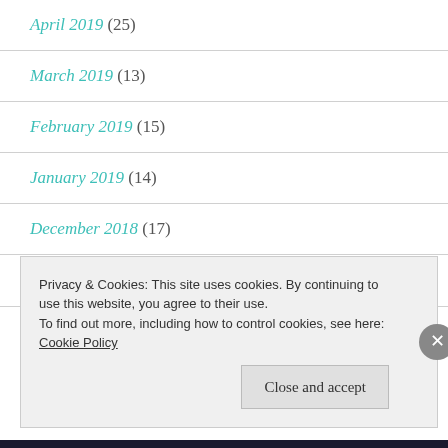April 2019 (25)
March 2019 (13)
February 2019 (15)
January 2019 (14)
December 2018 (17)
November 2018 (12)
Privacy & Cookies: This site uses cookies. By continuing to use this website, you agree to their use.
To find out more, including how to control cookies, see here: Cookie Policy
Close and accept